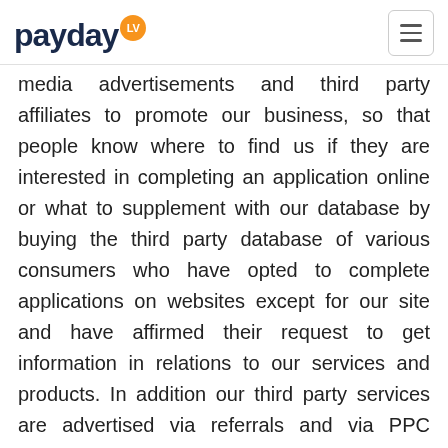payday LV
media advertisements and third party affiliates to promote our business, so that people know where to find us if they are interested in completing an application online or what to supplement with our database by buying the third party database of various consumers who have opted to complete applications on websites except for our site and have affirmed their request to get information in relations to our services and products. In addition our third party services are advertised via referrals and via PPC advertisements which is geared towards redirecting you to our website. assumes that